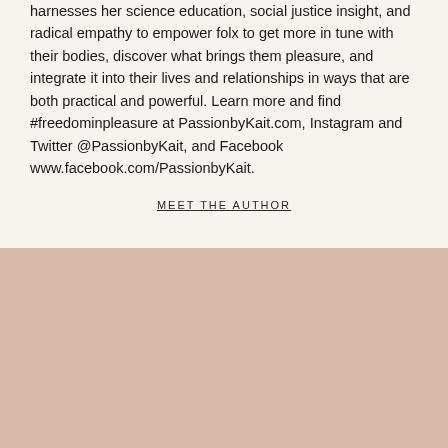harnesses her science education, social justice insight, and radical empathy to empower folx to get more in tune with their bodies, discover what brings them pleasure, and integrate it into their lives and relationships in ways that are both practical and powerful. Learn more and find #freedominpleasure at PassionbyKait.com, Instagram and Twitter @PassionbyKait, and Facebook www.facebook.com/PassionbyKait.
MEET THE AUTHOR
Get our weekly digest for advice on sex, periods, and life in a female body
Name